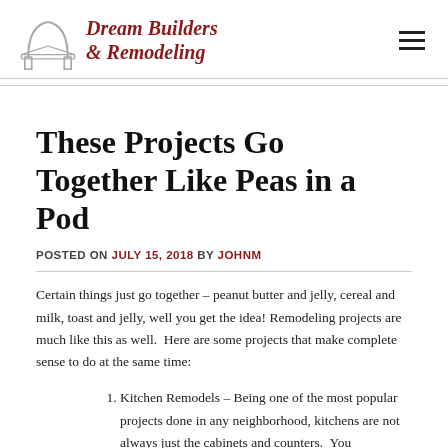[Figure (logo): Dream Builders & Remodeling logo with arch/columns icon and italic red brand name text, plus hamburger menu icon on the right]
These Projects Go Together Like Peas in a Pod
POSTED ON JULY 15, 2018 BY JOHNM
Certain things just go together – peanut butter and jelly, cereal and milk, toast and jelly, well you get the idea! Remodeling projects are much like this as well.  Here are some projects that make complete sense to do at the same time:
Kitchen Remodels – Being one of the most popular projects done in any neighborhood, kitchens are not always just the cabinets and counters.  You